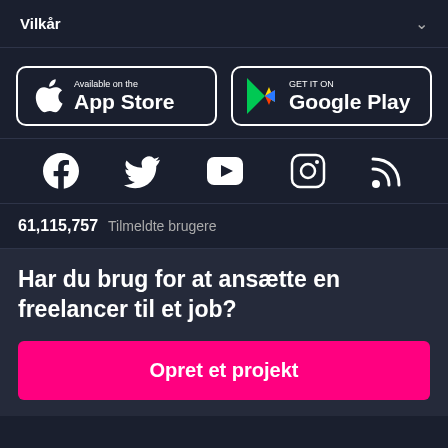Vilkår
[Figure (logo): App Store button with Apple logo, text: Available on the App Store]
[Figure (logo): Google Play button with Play logo, text: GET IT ON Google Play]
[Figure (infographic): Social media icons: Facebook, Twitter, YouTube, Instagram, RSS]
61,115,757  Tilmeldte brugere
Har du brug for at ansætte en freelancer til et job?
Opret et projekt